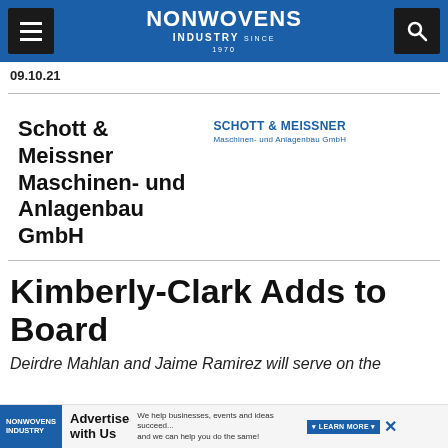NONWOVENS INDUSTRY
09.10.21
[Figure (logo): Schott & Meissner Maschinen- und Anlagenbau GmbH company logo in blue text]
Schott & Meissner Maschinen- und Anlagenbau GmbH
Kimberly-Clark Adds to Board
Deirdre Mahlan and Jaime Ramirez will serve on the
[Figure (other): Advertisement bar: Nonwovens Industry Advertise with Us banner ad]